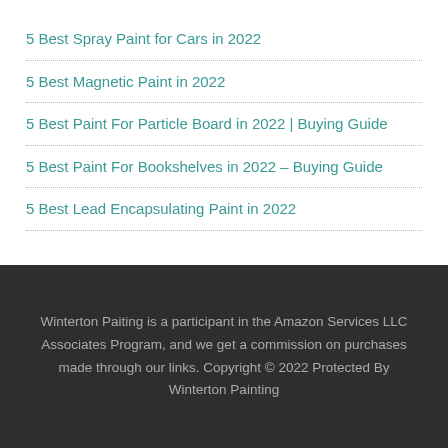5 Best Spray Paint for Cars in 2022
5 Best Magnetic Paint in 2022
5 Best Paint For Particle Board in 2022 | Buying Guide
5 Best Paint For Bookshelves in 2022 – Buying Guide
5 Best Lead Encapsulating Paint in 2022
Winterton Paiting is a participant in the Amazon Services LLC Associates Program, and we get a commission on purchases made through our links. Copyright © 2022 Protected By Winterton Painting